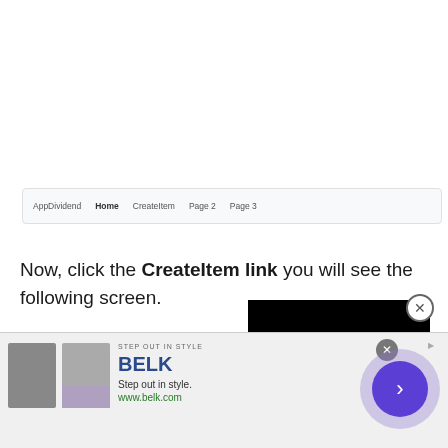[Figure (screenshot): Website navigation bar screenshot showing AppDividend, Home, CreateItem, Page 2, Page 3 links]
Now, click the CreateItem link you will see the following screen.
[Figure (screenshot): Black video/ad overlay showing AppDividend button, with close X button in top right corner]
Your URL will like this: http://lo...
[Figure (screenshot): Bottom advertisement banner for BELK - Step out in style. www.belk.com with product images and arrow navigation button]